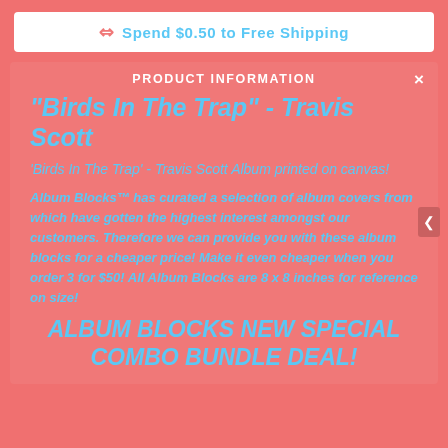Spend $0.50 to Free Shipping
PRODUCT INFORMATION
"Birds In The Trap" - Travis Scott
'Birds In The Trap' - Travis Scott Album printed on canvas!
Album Blocks™ has curated a selection of album covers from which have gotten the highest interest amongst our customers. Therefore we can provide you with these album blocks for a cheaper price! Make it even cheaper when you order 3 for $50! All Album Blocks are 8 x 8 inches for reference on size!
ALBUM BLOCKS NEW SPECIAL COMBO BUNDLE DEAL!